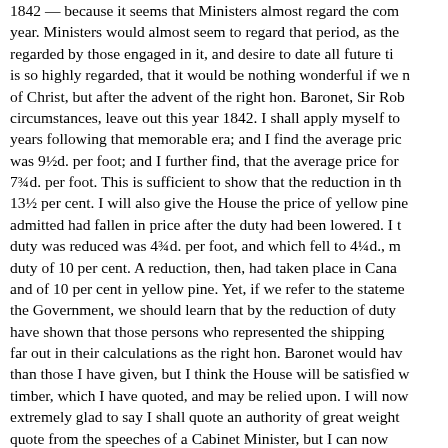1842 — because it seems that Ministers almost regard the com year. Ministers would almost seem to regard that period, as the regarded by those engaged in it, and desire to date all future ti is so highly regarded, that it would be nothing wonderful if we n of Christ, but after the advent of the right hon. Baronet, Sir Rob circumstances, leave out this year 1842. I shall apply myself to years following that memorable era; and I find the average pric was 9½d. per foot; and I further find, that the average price for 7¾d. per foot. This is sufficient to show that the reduction in th 13½ per cent. I will also give the House the price of yellow pine admitted had fallen in price after the duty had been lowered. I t duty was reduced was 4¾d. per foot, and which fell to 4¼d., m duty of 10 per cent. A reduction, then, had taken place in Cana and of 10 per cent in yellow pine. Yet, if we refer to the stateme the Government, we should learn that by the reduction of duty have shown that those persons who represented the shipping far out in their calculations as the right hon. Baronet would hav than those I have given, but I think the House will be satisfied w timber, which I have quoted, and may be relied upon. I will now extremely glad to say I shall quote an authority of great weight quote from the speeches of a Cabinet Minister, but I can now